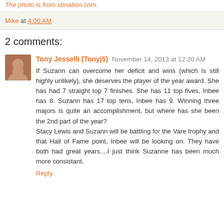The photo is from sbnation.com.
Mike at 4:00 AM
2 comments:
Tony Jesselli (Tonyj5)  November 14, 2013 at 12:20 AM
If Suzann can overcome her deficit and wins (which is still highly unlikely), she deserves the player of the year award. She has had 7 straight top 7 finishes. She has 11 top fives, Inbee has 8. Suzann has 17 top tens, Inbee has 9. Winning three majors is quite an accomplishment, but where has she been the 2nd part of the year?
Stacy Lewis and Suzann will be battling for the Vare trophy and that Hall of Fame point, Inbee will be looking on. They have both had great years....I just think Suzanne has been much more consistant.
Reply